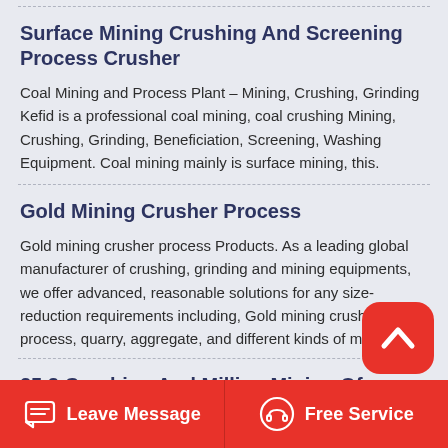Surface Mining Crushing And Screening Process Crusher
Coal Mining and Process Plant – Mining, Crushing, Grinding Kefid is a professional coal mining, coal crushing Mining, Crushing, Grinding, Beneficiation, Screening, Washing Equipment. Coal mining mainly is surface mining, this.
Gold Mining Crusher Process
Gold mining crusher process Products. As a leading global manufacturer of crushing, grinding and mining equipments, we offer advanced, reasonable solutions for any size-reduction requirements including, Gold mining crusher process, quarry, aggregate, and different kinds of minerals.
25 3 Crushing And Milling Mining Of Mineral
Leave Message   Free Service